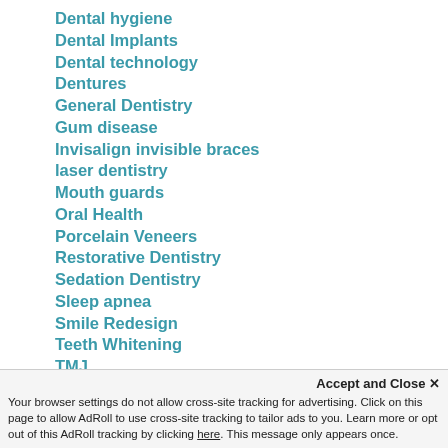Dental hygiene
Dental Implants
Dental technology
Dentures
General Dentistry
Gum disease
Invisalign invisible braces
laser dentistry
Mouth guards
Oral Health
Porcelain Veneers
Restorative Dentistry
Sedation Dentistry
Sleep apnea
Smile Redesign
Teeth Whitening
TMJ
Accept and Close ×
Your browser settings do not allow cross-site tracking for advertising. Click on this page to allow AdRoll to use cross-site tracking to tailor ads to you. Learn more or opt out of this AdRoll tracking by clicking here. This message only appears once.